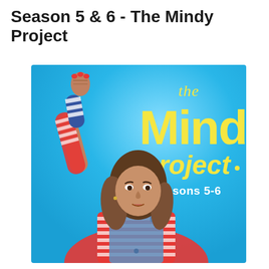Season 5 & 6 - The Mindy Project
[Figure (photo): Promotional poster for The Mindy Project Seasons 5-6. A woman in a red and white striped long-sleeve shirt with denim overalls raises her right fist in the air. She has long brown hair. The background is bright blue/cyan. Yellow stylized text reads 'the Mindy project' with 'Seasons 5-6' in white text below.]